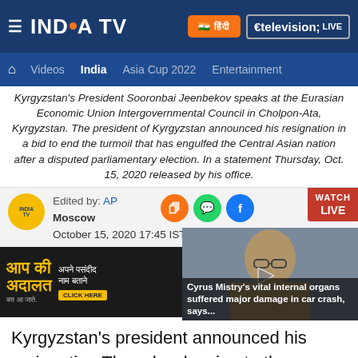INDIA TV — top navigation bar with hamburger menu, Hindi button, LIVE button
Videos | India | Asia Cup 2022 | Entertainment
Kyrgyzstan's President Sooronbai Jeenbekov speaks at the Eurasian Economic Union Intergovernmental Council in Cholpon-Ata, Kyrgyzstan. The president of Kyrgyzstan announced his resignation in a bid to end the turmoil that has engulfed the Central Asian nation after a disputed parliamentary election. In a statement Thursday, Oct. 15, 2020 released by his office.
Edited by: AP
Moscow
October 15, 2020 17:45 IST
[Figure (photo): Thumbnail image of Cyrus Mistry with caption: Cyrus Mistry's vital internal organs suffered major damage in car crash, says...]
[Figure (photo): Advertisement banner: Aap Ki Adalat — Apne pasandida naam batayein. CLICK HERE button.]
Kyrgyzstan's president announced his resignation Thursday, bowing to the demands of protesters who have taken to the streets of this Central Asian nation